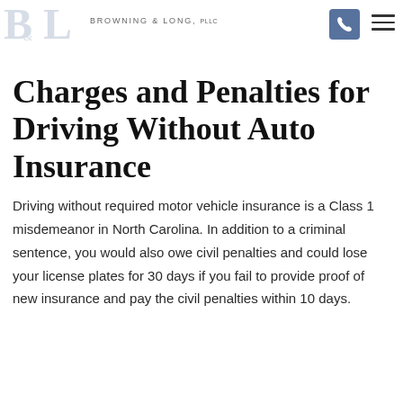BROWNING & LONG, PLLC
injury in an accident or if you are hurt in a crash caused by another driver who has insufficient insurance to fully compensate you.
Charges and Penalties for Driving Without Auto Insurance
Driving without required motor vehicle insurance is a Class 1 misdemeanor in North Carolina. In addition to a criminal sentence, you would also owe civil penalties and could lose your license plates for 30 days if you fail to provide proof of new insurance and pay the civil penalties within 10 days.